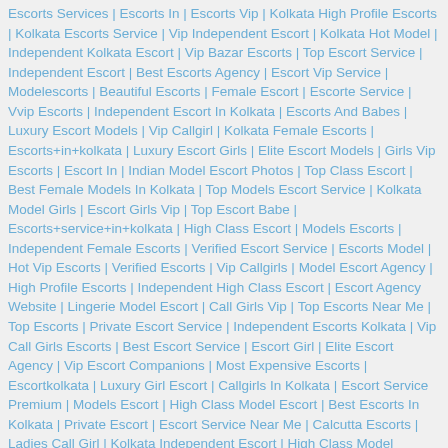Escorts Services | Escorts In | Escorts Vip | Kolkata High Profile Escorts | Kolkata Escorts Service | Vip Independent Escort | Kolkata Hot Model | Independent Kolkata Escort | Vip Bazar Escorts | Top Escort Service | Independent Escort | Best Escorts Agency | Escort Vip Service | Modelescorts | Beautiful Escorts | Female Escort | Escorte Service | Vvip Escorts | Independent Escort In Kolkata | Escorts And Babes | Luxury Escort Models | Vip Callgirl | Kolkata Female Escorts | Escorts+in+kolkata | Luxury Escort Girls | Elite Escort Models | Girls Vip Escorts | Escort In | Indian Model Escort Photos | Top Class Escort | Best Female Models In Kolkata | Top Models Escort Service | Kolkata Model Girls | Escort Girls Vip | Top Escort Babe | Escorts+service+in+kolkata | High Class Escort | Models Escorts | Independent Female Escorts | Verified Escort Service | Escorts Model | Hot Vip Escorts | Verified Escorts | Vip Callgirls | Model Escort Agency | High Profile Escorts | Independent High Class Escort | Escort Agency Website | Lingerie Model Escort | Call Girls Vip | Top Escorts Near Me | Top Escorts | Private Escort Service | Independent Escorts Kolkata | Vip Call Girls Escorts | Best Escort Service | Escort Girl | Elite Escort Agency | Vip Escort Companions | Most Expensive Escorts | Escortkolkata | Luxury Girl Escort | Callgirls In Kolkata | Escort Service Premium | Models Escort | High Class Model Escort | Best Escorts In Kolkata | Private Escort | Escort Service Near Me | Calcutta Escorts | Ladies Call Girl | Kolkata Independent Escort | High Class Model Escorts | Best Escort Agency | Model World Escort | Best Escort Services | Vip Escorts In India | Escort Vip Premium | Escart Service | Bangladeshi Escorts | Call Girls | Vip Pleasure Escorts | Call Girls Service | Luxary Escorts | Vip Eacort | Erotic Escorts | Vip Girl Escort | Top Escorts Babe | Escort Vvip | Sophisticated Escorts | Beautiful Escort | High Class Call Girl | Female Escort Service Kolkata | Escorts At Kolkata | Escorts Calcutta | Female Escort Kolkata | High Profile Escort Kolkata | Elite Escort